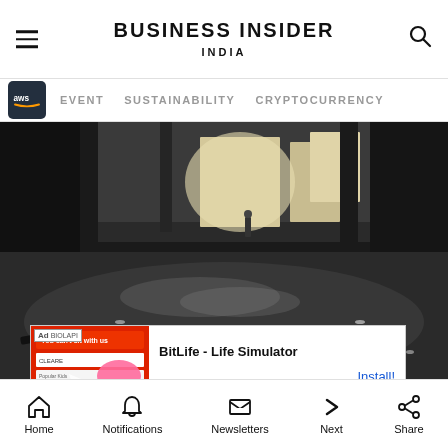BUSINESS INSIDER INDIA
EVENT   SUSTAINABILITY   CRYPTOCURRENCY
[Figure (photo): Black and white photo of a large interior hall with a wet, reflective floor covered in scattered debris. Two figures are visible in the background near windows letting in bright light.]
[Figure (infographic): Ad overlay for BitLife - Life Simulator app with red advertisement banner image on left and Install button on right]
Window...  ...r
Home   Notifications   Newsletters   Next   Share